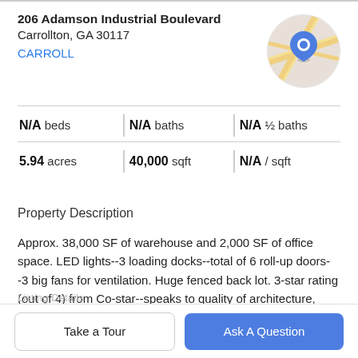206 Adamson Industrial Boulevard
Carrollton, GA 30117
CARROLL
[Figure (map): Circular map thumbnail with a blue location pin marker over a road map of the area near 206 Adamson Industrial Boulevard, Carrollton GA]
| N/A beds | N/A baths | N/A ½ baths |
| 5.94 acres | 40,000 sqft | N/A / sqft |
Property Description
Approx. 38,000 SF of warehouse and 2,000 SF of office space. LED lights--3 loading docks--total of 6 roll-up doors--3 big fans for ventilation. Huge fenced back lot. 3-star rating (out of 4) from Co-star--speaks to quality of architecture, design aesthetics, accessibility and system